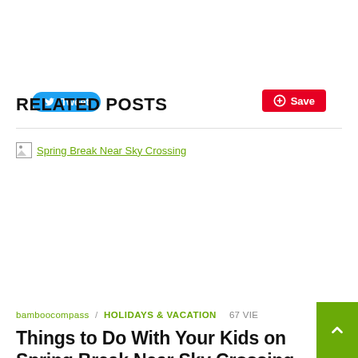[Figure (other): Tweet button (blue rounded) and Save button (red, Pinterest style)]
RELATED POSTS
[Figure (photo): Broken image placeholder for 'Spring Break Near Sky Crossing']
bamboocompass / HOLIDAYS & VACATION  67 VIE…
Things to Do With Your Kids on Spring Break Near Sky Crossing